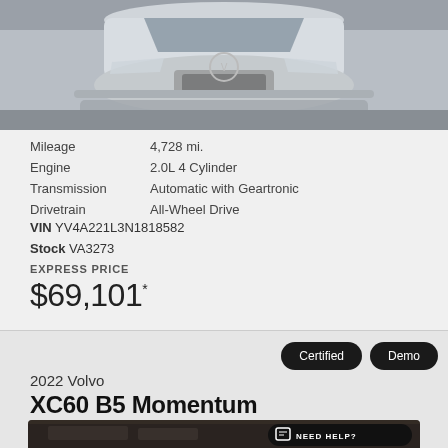[Figure (photo): Front view of a white Volvo vehicle, shot from above showing the hood and front fascia]
| Mileage | 4,728 mi. |
| Engine | 2.0L 4 Cylinder |
| Transmission | Automatic with Geartronic |
| Drivetrain | All-Wheel Drive |
VIN YV4A221L3N1818582
Stock VA3273
EXPRESS PRICE
$69,101*
Certified   Demo
2022 Volvo
XC60 B5 Momentum
[Figure (photo): Partial view of a dark-colored Volvo interior/exterior with NEED HELP? chat button overlay]